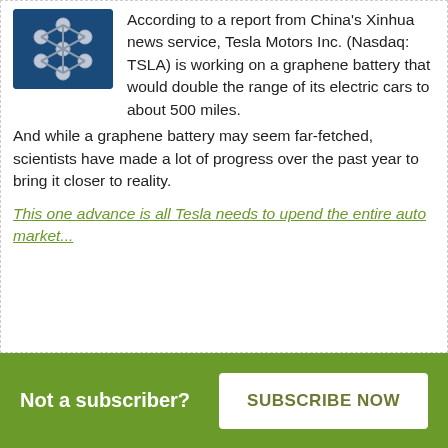[Figure (illustration): Graphene molecular structure illustration on dark blue background]
According to a report from China's Xinhua news service, Tesla Motors Inc. (Nasdaq: TSLA) is working on a graphene battery that would double the range of its electric cars to about 500 miles.
And while a graphene battery may seem far-fetched, scientists have made a lot of progress over the past year to bring it closer to reality.
This one advance is all Tesla needs to upend the entire auto market...
Not a subscriber?
SUBSCRIBE NOW